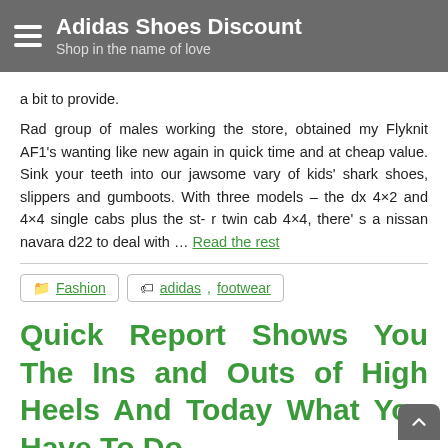Adidas Shoes Discount — Shop in the name of love
a bit to provide.
Rad group of males working the store, obtained my Flyknit AF1's wanting like new again in quick time and at cheap value. Sink your teeth into our jawsome vary of kids' shark shoes, slippers and gumboots. With three models – the dx 4×2 and 4×4 single cabs plus the st- r twin cab 4×4, there's a nissan navara d22 to deal with … Read the rest
Fashion | adidas, footwear
Quick Report Shows You The Ins and Outs of High Heels And Today What You Have To Do
Hubert Jonas  July 6, 2021  No Comments